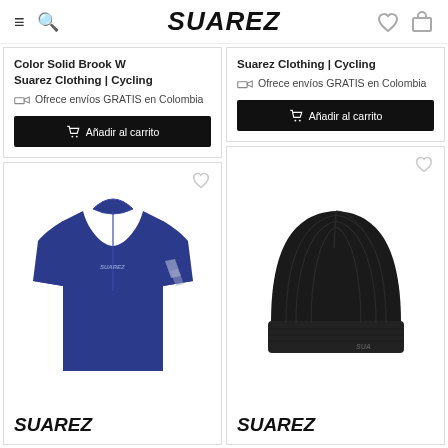SUAREZ
Color Solid Brook W
Suarez Clothing | Cycling
Ofrece envíos GRATIS en Colombia
Suarez Clothing | Cycling
Ofrece envíos GRATIS en Colombia
[Figure (photo): Blue cycling jersey with white stripe details on sleeve, Suarez branding]
[Figure (photo): Black knit beanie hat with Suarez logo]
SUAREZ
SUAREZ